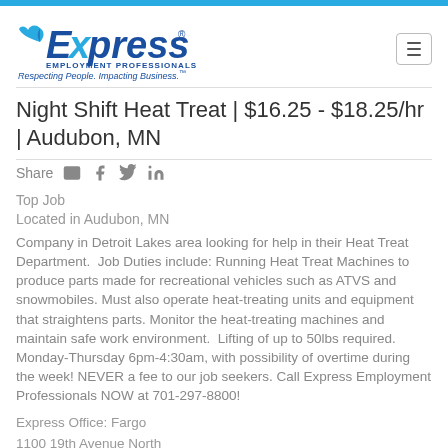[Figure (logo): Express Employment Professionals logo with tagline 'Respecting People. Impacting Business.']
Night Shift Heat Treat | $16.25 - $18.25/hr | Audubon, MN
Share
Top Job
Located in Audubon, MN
Company in Detroit Lakes area looking for help in their Heat Treat Department.  Job Duties include: Running Heat Treat Machines to produce parts made for recreational vehicles such as ATVS and snowmobiles. Must also operate heat-treating units and equipment that straightens parts. Monitor the heat-treating machines and maintain safe work environment.  Lifting of up to 50lbs required. Monday-Thursday 6pm-4:30am, with possibility of overtime during the week! NEVER a fee to our job seekers. Call Express Employment Professionals NOW at 701-297-8800!
Express Office: Fargo
1100 19th Avenue North
Suite B4